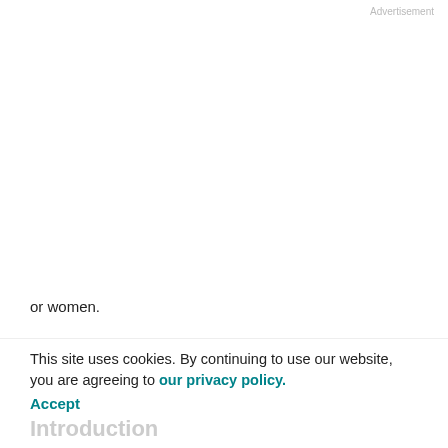Advertisement
or women.
Conclusion:
Associations of abdominal skeletal muscle mass with mortality among patients with colorectal cancer were not the same for men and for women.
Impact:
This study stresses the importance for more attention on sex-related differences in body composition and cancer
This site uses cookies. By continuing to use our website, you are agreeing to our privacy policy.
Accept
Introduction